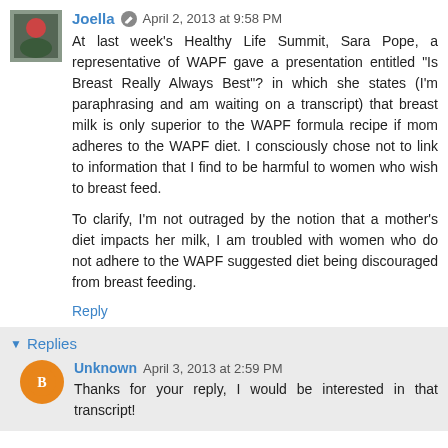[Figure (photo): Small avatar photo of Joella showing a person outdoors]
Joella  April 2, 2013 at 9:58 PM
At last week's Healthy Life Summit, Sara Pope, a representative of WAPF gave a presentation entitled "Is Breast Really Always Best"? in which she states (I'm paraphrasing and am waiting on a transcript) that breast milk is only superior to the WAPF formula recipe if mom adheres to the WAPF diet. I consciously chose not to link to information that I find to be harmful to women who wish to breast feed.
To clarify, I'm not outraged by the notion that a mother's diet impacts her milk, I am troubled with women who do not adhere to the WAPF suggested diet being discouraged from breast feeding.
Reply
▼ Replies
[Figure (illustration): Circular orange avatar with white blogger 'B' icon for Unknown user]
Unknown  April 3, 2013 at 2:59 PM
Thanks for your reply, I would be interested in that transcript!